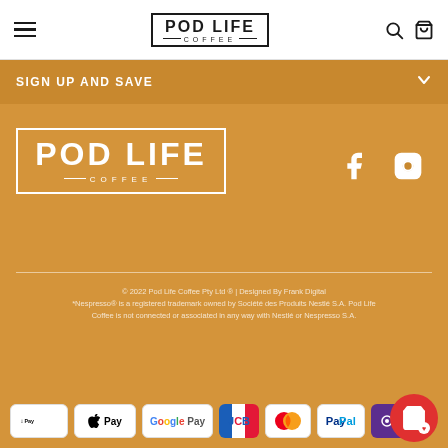POD LIFE COFFEE – navigation header with hamburger menu, logo, search and cart icons
SIGN UP AND SAVE
[Figure (logo): Pod Life Coffee logo in white on golden/amber background, large format]
[Figure (logo): Facebook and Instagram social media icons in white]
© 2022 Pod Life Coffee Pty Ltd ® | Designed By Frank Digital *Nespresso® is a registered trademark owned by Société des Produits Nestlé S.A. Pod Life Coffee is not connected or associated in any way with Nestlé or Nespresso S.A.
[Figure (other): Payment method icons: Apple Pay, Google Pay, JCB, Mastercard, PayPal, OPay, Visa]